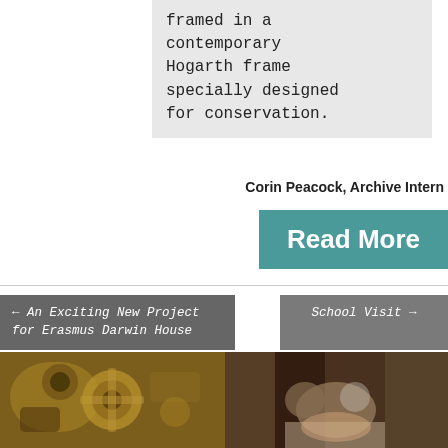framed in a contemporary Hogarth frame specially designed for conservation.
Corin Peacock, Archive Intern
Read More
← An Exciting New Project for Erasmus Darwin House
School Visit →
[Figure (photo): Close-up photograph of brass scientific instrument with circular dial and mechanical parts, in golden/copper tones]
[Figure (photo): Overhead photograph of a wedding couple kissing, bride holding orange flower bouquet, on stone stairs]